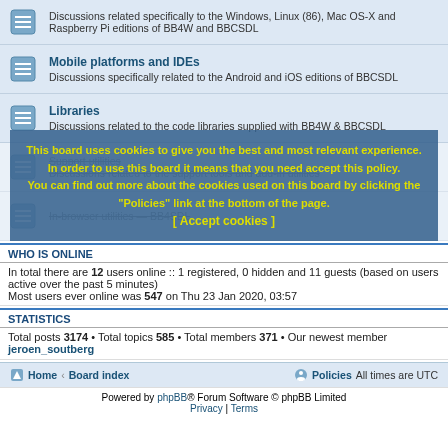Discussions related specifically to the Windows, Linux (86), Mac OS-X and Raspberry Pi editions of BB4W and BBCSDL
Mobile platforms and IDEs — Discussions specifically related to the Android and iOS editions of BBCSDL
Libraries — Discussions related to the code libraries supplied with BB4W & BBCSDL
Support utilities — Discussions related to the support tools and add-in utilities
In-browser utilities — BB4SDL
This board uses cookies to give you the best and most relevant experience. In order to use this board it means that you need accept this policy. You can find out more about the cookies used on this board by clicking the "Policies" link at the bottom of the page. [ Accept cookies ]
WHO IS ONLINE
In total there are 12 users online :: 1 registered, 0 hidden and 11 guests (based on users active over the past 5 minutes)
Most users ever online was 547 on Thu 23 Jan 2020, 03:57
STATISTICS
Total posts 3174 • Total topics 585 • Total members 371 • Our newest member jeroen_soutberg
Home • Board index | Policies | All times are UTC
Powered by phpBB® Forum Software © phpBB Limited | Privacy | Terms